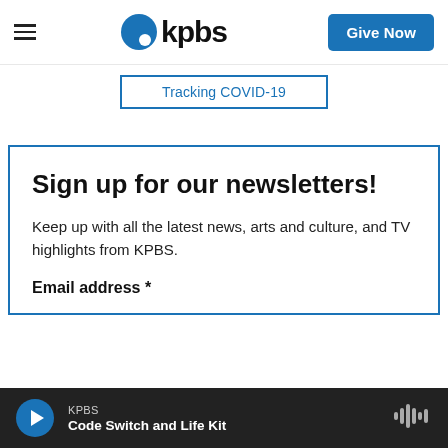kpbs | Give Now
Tracking COVID-19
Sign up for our newsletters!
Keep up with all the latest news, arts and culture, and TV highlights from KPBS.
Email address *
KPBS | Code Switch and Life Kit